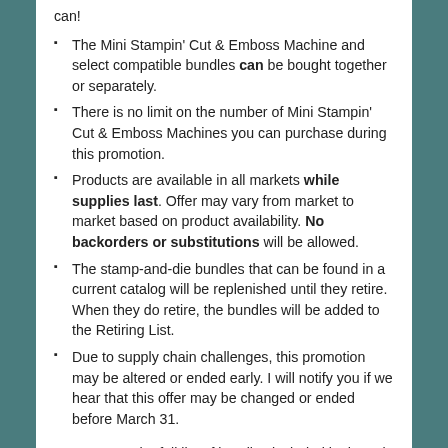can!
The Mini Stampin' Cut & Emboss Machine and select compatible bundles can be bought together or separately.
There is no limit on the number of Mini Stampin' Cut & Emboss Machines you can purchase during this promotion.
Products are available in all markets while supplies last. Offer may vary from market to market based on product availability. No backorders or substitutions will be allowed.
The stamp-and-die bundles that can be found in a current catalog will be replenished until they retire. When they do retire, the bundles will be added to the Retiring List.
Due to supply chain challenges, this promotion may be altered or ended early. I will notify you if we hear that this offer may be changed or ended before March 31.
You can see the full list of bundles included in the sale on